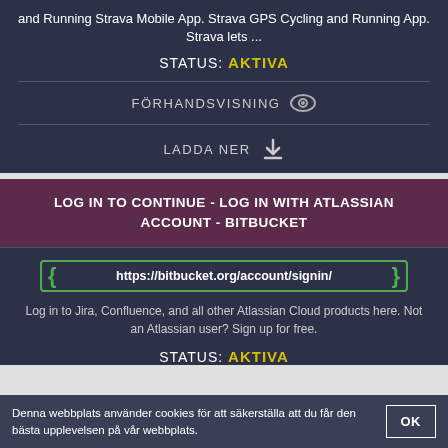and Running Strava Mobile App. Strava GPS Cycling and Running App. Strava lets ...
STATUS: AKTIVA
FÖRHANDSVISNING
LADDA NER
LOG IN TO CONTINUE - LOG IN WITH ATLASSIAN ACCOUNT - BITBUCKET
https://bitbucket.org/account/signin/
Log in to Jira, Confluence, and all other Atlassian Cloud products here. Not an Atlassian user? Sign up for free.
STATUS: AKTIVA
Denna webbplats använder cookies för att säkerställa att du får den bästa upplevelsen på vår webbplats.